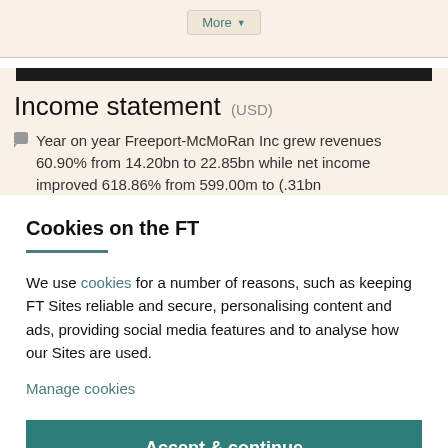More ▼
Income statement (USD)
Year on year Freeport-McMoRan Inc grew revenues 60.90% from 14.20bn to 22.85bn while net income improved 618.86% from 599.00m to (.31bn
Cookies on the FT
We use cookies for a number of reasons, such as keeping FT Sites reliable and secure, personalising content and ads, providing social media features and to analyse how our Sites are used.
Manage cookies
Accept & continue